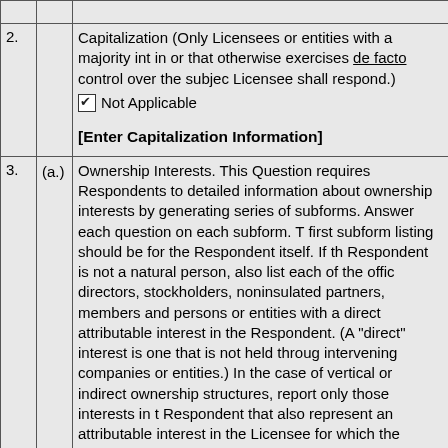| # | Sub | Content |
| --- | --- | --- |
|  |  |  |
| 2. |  | Capitalization (Only Licensees or entities with a majority int... in or that otherwise exercises de facto control over the subjec... Licensee shall respond.)
☑ Not Applicable

[Enter Capitalization Information] |
| 3. | (a.) | Ownership Interests. This Question requires Respondents to... detailed information about ownership interests by generating... series of subforms. Answer each question on each subform. T... first subform listing should be for the Respondent itself. If th... Respondent is not a natural person, also list each of the offic... directors, stockholders, noninsulated partners, members and... persons or entities with a direct attributable interest in the... Respondent. (A "direct" interest is one that is not held throug... intervening companies or entities.) In the case of vertical or... indirect ownership structures, report only those interests in t... Respondent that also represent an attributable interest in the... Licensee for which the Report is being submitted.

List each person or entity with a direct attributable interest i... Respondent separately. Entities that are part of an organizatio... structure that includes holding companies or other forms of i... ownership must file separate ownership reports. In such str... |